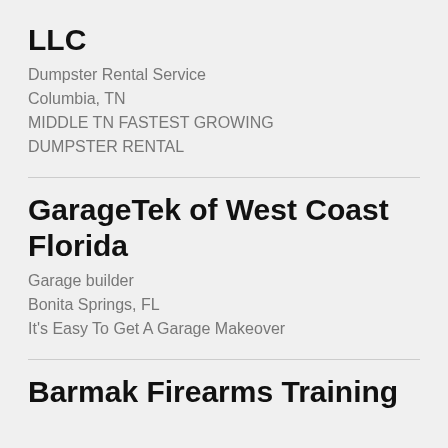LLC
Dumpster Rental Service
Columbia, TN
MIDDLE TN FASTEST GROWING DUMPSTER RENTAL
GarageTek of West Coast Florida
Garage builder
Bonita Springs, FL
It's Easy To Get A Garage Makeover
Barmak Firearms Training